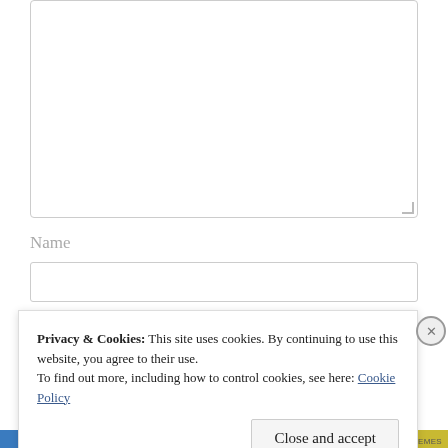[Figure (screenshot): Empty textarea input box with resize handle in bottom-right corner]
Name
[Figure (screenshot): Empty single-line text input field for Name]
Privacy & Cookies: This site uses cookies. By continuing to use this website, you agree to their use.
To find out more, including how to control cookies, see here: Cookie Policy
Close and accept